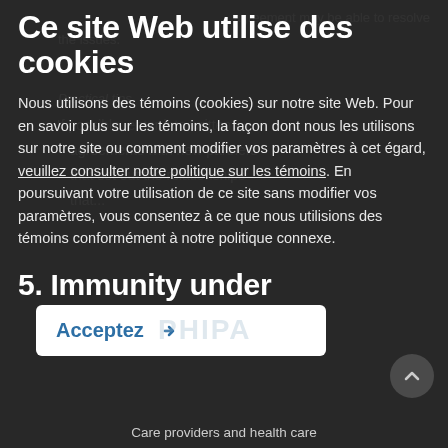agreement may be able to resolve the issues.
Practical tips
Ce site Web utilise des cookies
Nous utilisons des témoins (cookies) sur notre site Web. Pour en savoir plus sur les témoins, la façon dont nous les utilisons sur notre site ou comment modifier vos paramètres à cet égard, veuillez consulter notre politique sur les témoins. En poursuivant votre utilisation de ce site sans modifier vos paramètres, vous consentez à ce que nous utilisions des témoins conformément à notre politique connexe.
If possible, enter into written agreements with new partners that set out the relationships.
5. Immunity under
[Figure (screenshot): Accept button (Acceptez) with arrow icon on white background, and PHIPA watermark text behind it]
Care providers and health care